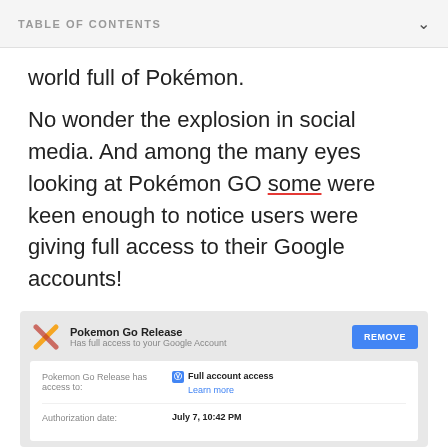TABLE OF CONTENTS
world full of Pokémon.
No wonder the explosion in social media. And among the many eyes looking at Pokémon GO some were keen enough to notice users were giving full access to their Google accounts!
[Figure (screenshot): Google account permissions screenshot showing Pokemon Go Release has full access to the Google Account with a REMOVE button, authorization date July 7, 10:42 PM]